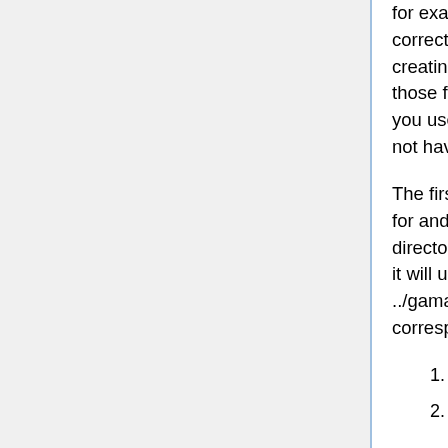for example (user B). The solution is to use correct diag/tracerinfo.dat when reading and creating bpch files. GEOS-Chem now writes those files for each runs in your run directory. If you use them when reading run outputs, you will not have a problem.
The first time a GAMAP routine is used, it will look for and read these files. First, in the current directory, then in the !path variable (which means it will used the default ones in ../gamap2/input_files/). So, to read those corresponding to your run you can:
start your IDL session in your run directory
start your IDL anywhere, and then: cd, 'your_run_directory', before using GAMAP
copy your diag/tracerinfo.dat from